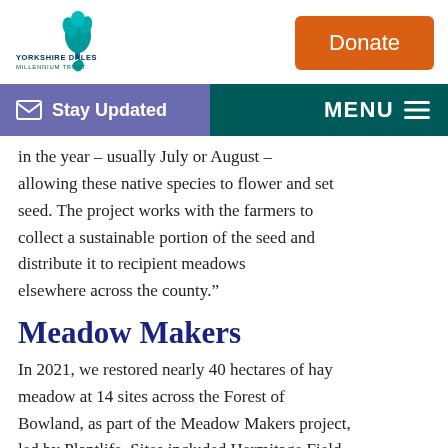[Figure (logo): Yorkshire Dales Millennium Trust logo with teal tree illustration and text 'YORKSHIRE DALES MILLENNIUM TRUST']
[Figure (other): Orange 'Donate' button]
Stay Updated   MENU
in the year – usually July or August – allowing these native species to flower and set seed. The project works with the farmers to collect a sustainable portion of the seed and distribute it to recipient meadows elsewhere across the county."
Meadow Makers
In 2021, we restored nearly 40 hectares of hay meadow at 14 sites across the Forest of Bowland, as part of the Meadow Makers project, led by Plantlife. Sites included Hermitage Field